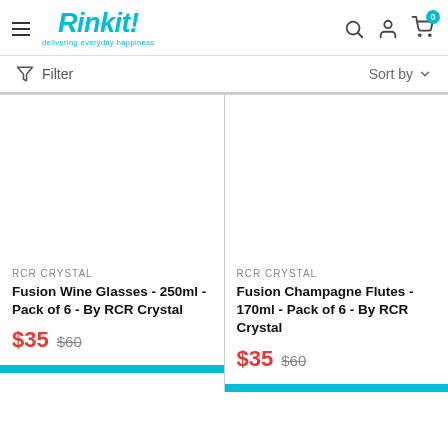[Figure (logo): Rinkit! logo with tagline 'delivering everyday happiness' in teal/cyan color]
Filter
Sort by
RCR CRYSTAL
Fusion Wine Glasses - 250ml - Pack of 6 - By RCR Crystal
$35  $60
RCR CRYSTAL
Fusion Champagne Flutes - 170ml - Pack of 6 - By RCR Crystal
$35  $60